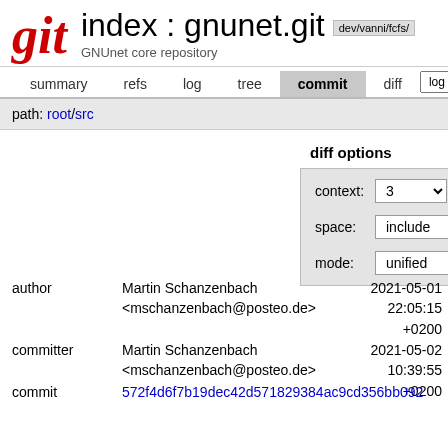git  index : gnunet.git  dev/vanni/fcfs/  GNUnet core repository
summary  refs  log  tree  commit  diff  log msg
path: root/src
diff options
context: 3
space: include
mode: unified
author
Martin Schanzenbach <mschanzenbach@posteo.de>
2021-05-01 22:05:15 +0200
committer
Martin Schanzenbach <mschanzenbach@posteo.de>
2021-05-02 10:39:55 +0200
commit  572f4d6f7b19dec42d571829384ac9cd356bb092